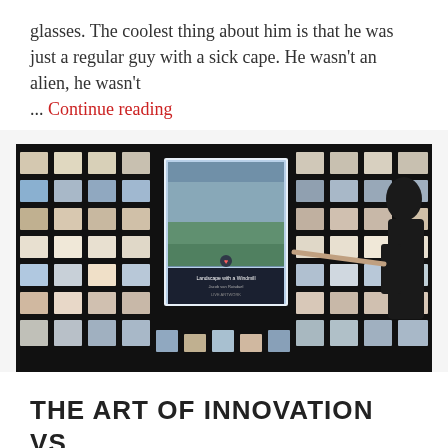glasses. The coolest thing about him is that he was just a regular guy with a sick cape. He wasn't an alien, he wasn't ... Continue reading
[Figure (photo): A woman silhouetted against a large interactive touchscreen display showing art images arranged across a dark wall. The central screen displays 'Landscape with a Windmill' by Jacob van Ruisdael. A grid of artwork thumbnails surrounds the central display against a black background.]
THE ART OF INNOVATION VS. PROTECTION
Leave a comment